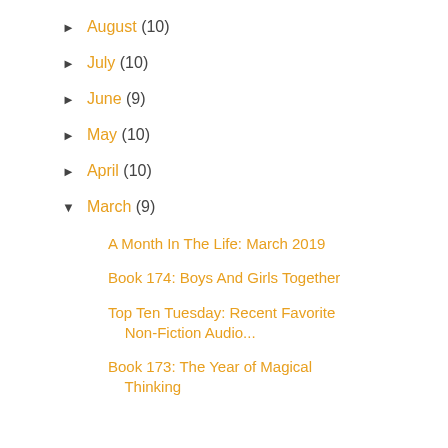► August (10)
► July (10)
► June (9)
► May (10)
► April (10)
▼ March (9)
A Month In The Life: March 2019
Book 174: Boys And Girls Together
Top Ten Tuesday: Recent Favorite Non-Fiction Audio...
Book 173: The Year of Magical Thinking